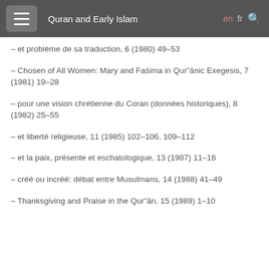Quran and Early Islam
– et problème de sa traduction, 6 (1980) 49–53
– Chosen of All Women: Mary and Fašima in Qur"ānic Exegesis, 7 (1981) 19–28
– pour une vision chrétienne du Coran (données historiques), 8 (1982) 25–55
– et liberté religieuse, 11 (1985) 102–106, 109–112
– et la paix, présente et eschatologique, 13 (1987) 11–16
– créé ou incréé: débat entre Musulmans, 14 (1988) 41–49
– Thanksgiving and Praise in the Qur"ān, 15 (1989) 1–10